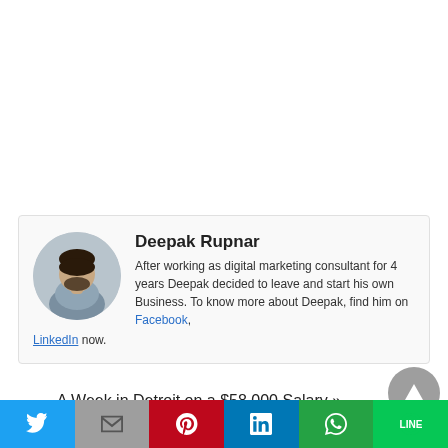[Figure (photo): Author profile card with circular photo of Deepak Rupnar on the left, name and bio text on the right.]
Deepak Rupnar
After working as digital marketing consultant for 4 years Deepak decided to leave and start his own Business. To know more about Deepak, find him on Facebook, LinkedIn now.
A Week in Detroit on a $58,000 Salary »
[Figure (infographic): Social share bar with Twitter, Gmail/M, Pinterest, LinkedIn, WhatsApp, and LINE buttons.]